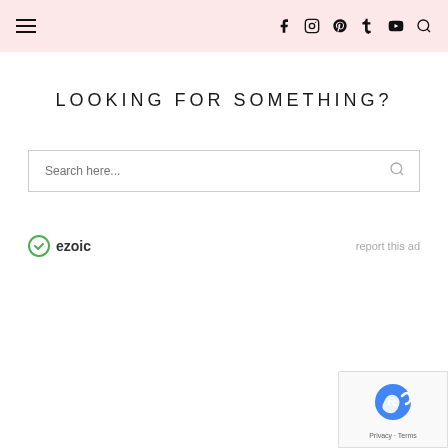Navigation header with hamburger menu and social icons: Facebook, Instagram, Pinterest, Tumblr, YouTube, Search
LOOKING FOR SOMETHING?
Search here...
[Figure (logo): Ezoic logo with circular checkmark icon and 'ezoic' text, plus 'report this ad' link]
[Figure (other): reCAPTCHA privacy badge with Google reCAPTCHA logo, Privacy and Terms links]